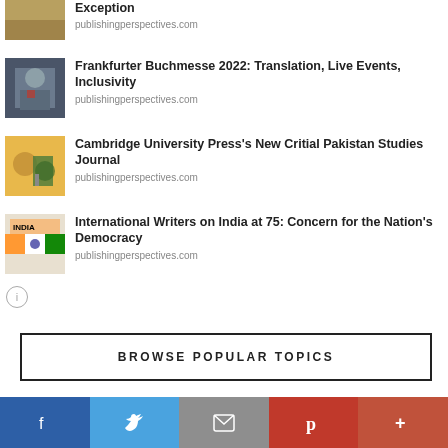[Figure (photo): Thumbnail image - wheat/field background]
Exception
publishingperspectives.com
[Figure (photo): Thumbnail image - man in suit with red lanyard (Frankfurter Buchmesse)]
Frankfurter Buchmesse 2022: Translation, Live Events, Inclusivity
publishingperspectives.com
[Figure (photo): Thumbnail image - man on bicycle at event (Pakistan Studies)]
Cambridge University Press's New Critial Pakistan Studies Journal
publishingperspectives.com
[Figure (photo): Thumbnail image - India flag/national imagery]
International Writers on India at 75: Concern for the Nation's Democracy
publishingperspectives.com
BROWSE POPULAR TOPICS
[Figure (other): Social media share bar: Facebook, Twitter, Email, Pinterest, More]